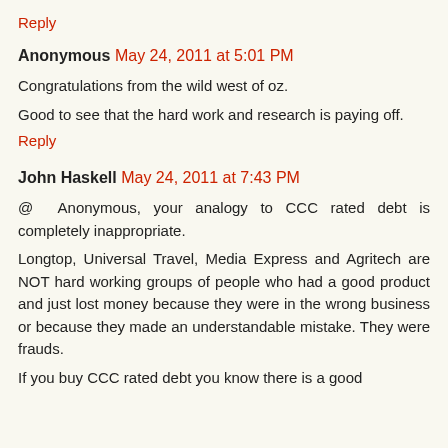Reply
Anonymous  May 24, 2011 at 5:01 PM
Congratulations from the wild west of oz.
Good to see that the hard work and research is paying off.
Reply
John Haskell  May 24, 2011 at 7:43 PM
@ Anonymous, your analogy to CCC rated debt is completely inappropriate.
Longtop, Universal Travel, Media Express and Agritech are NOT hard working groups of people who had a good product and just lost money because they were in the wrong business or because they made an understandable mistake. They were frauds.
If you buy CCC rated debt you know there is a good